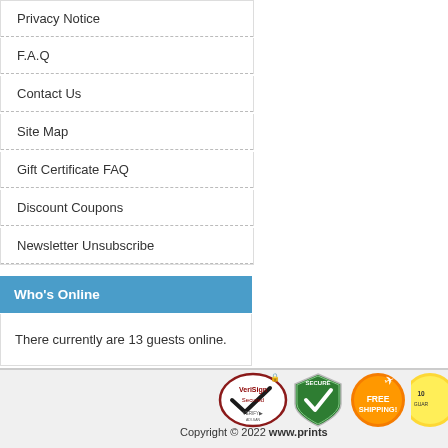Privacy Notice
F.A.Q
Contact Us
Site Map
Gift Certificate FAQ
Discount Coupons
Newsletter Unsubscribe
Who's Online
There currently are 13 guests online.
[Figure (logo): VeriSign Secured badge, Secure shield badge, Free Shipping badge, Satisfaction guarantee badge (partially visible)]
Copyright © 2022 www.prints